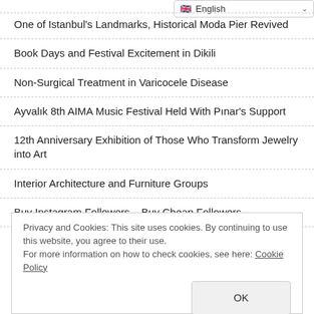[Figure (screenshot): Language selector dropdown showing English with flag icon and chevron]
One of Istanbul's Landmarks, Historical Moda Pier Revived
Book Days and Festival Excitement in Dikili
Non-Surgical Treatment in Varicocele Disease
Ayvalık 8th AIMA Music Festival Held With Pınar's Support
12th Anniversary Exhibition of Those Who Transform Jewelry into Art
Interior Architecture and Furniture Groups
Buy Instagram Followers – Buy Cheap Followers
Eyes of World E-Commerce Giants are in Turkey
Privacy and Cookies: This site uses cookies. By continuing to use this website, you agree to their use.
For more information on how to check cookies, see here: Cookie Policy
[OK button]